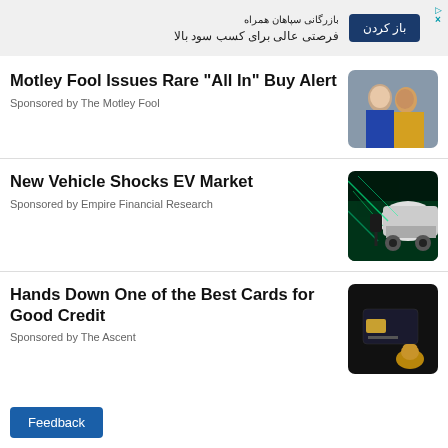[Figure (infographic): Advertisement banner in Farsi with blue button labeled 'باز کردن' and text about trading opportunities, with X close button]
Motley Fool Issues Rare "All In" Buy Alert
Sponsored by The Motley Fool
[Figure (photo): Two smiling women, one in blue and one in yellow top, on grey background]
New Vehicle Shocks EV Market
Sponsored by Empire Financial Research
[Figure (photo): Electric vehicle charging with glowing green light effects]
Hands Down One of the Best Cards for Good Credit
Sponsored by The Ascent
[Figure (photo): Black credit card held by gold hand sculpture on dark background]
Feedback